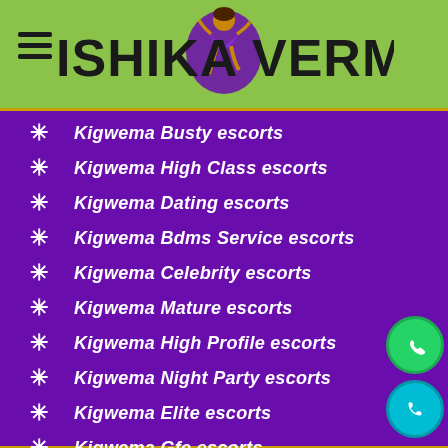ISHIKA VERMA
Kigwema Busty escorts
Kigwema High Class escorts
Kigwema Dating escorts
Kigwema Bdms Service escorts
Kigwema Celebrity escorts
Kigwema Mature escorts
Kigwema High Profile escorts
Kigwema Night Party escorts
Kigwema Elite escorts
Kigwema Gfe escorts